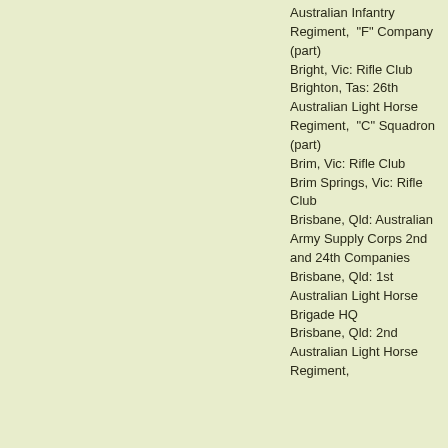Australian Infantry Regiment,  "F" Company (part)
Bright, Vic: Rifle Club
Brighton, Tas: 26th Australian Light Horse Regiment,  "C" Squadron (part)
Brim, Vic: Rifle Club
Brim Springs, Vic: Rifle Club
Brisbane, Qld: Australian Army Supply Corps 2nd and 24th Companies
Brisbane, Qld: 1st Australian Light Horse Brigade HQ
Brisbane, Qld: 2nd Australian Light Horse Regiment,